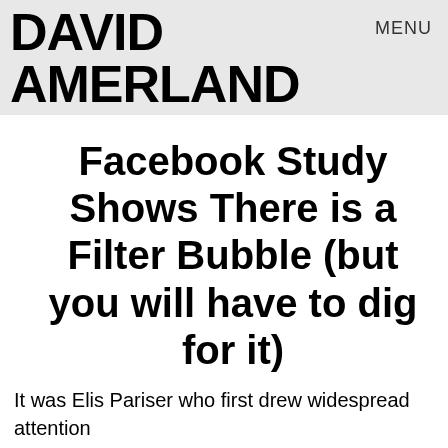DAVID AMERLAND  MENU
Facebook Study Shows There is a Filter Bubble (but you will have to dig for it)
It was Elis Pariser who first drew widespread attention